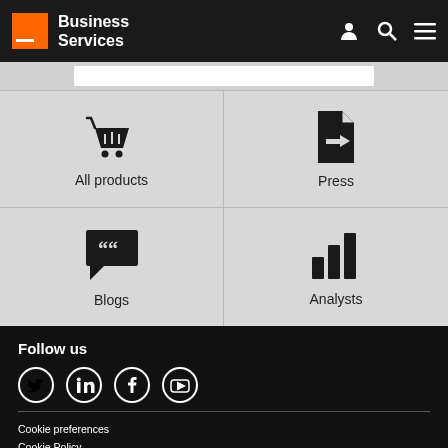Business Services
All products
Press
Blogs
Analysts
Follow us
Cookie preferences
Cookie Policy
Legal information
Privacy Policy
Accessibility